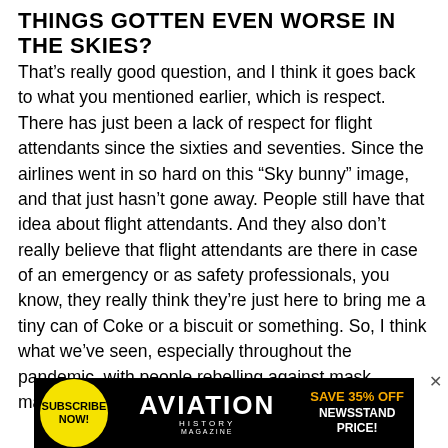THINGS GOTTEN EVEN WORSE IN THE SKIES?
That's really good question, and I think it goes back to what you mentioned earlier, which is respect. There has just been a lack of respect for flight attendants since the sixties and seventies. Since the airlines went in so hard on this “Sky bunny” image, and that just hasn’t gone away. People still have that idea about flight attendants. And they also don’t really believe that flight attendants are there in case of an emergency or as safety professionals, you know, they really think they’re just here to bring me a tiny can of Coke or a biscuit or something. So, I think what we’ve seen, especially throughout the pandemic, with people rebelling against mask mandates or getting very drunk on
[Figure (infographic): Advertisement banner for Aviation History Magazine: yellow circle with 'SUBSCRIBE NOW!' text, AVIATION HISTORY MAGAZINE logo in center, and 'SAVE 35% OFF NEWSSTAND PRICE!' text on right]